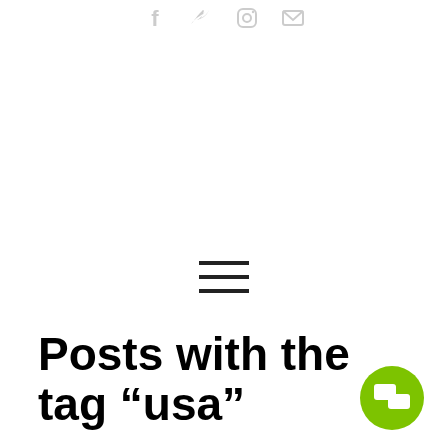[Figure (other): Social media icons: Facebook, Twitter, Instagram, Email — shown in light gray at top center]
[Figure (other): Hamburger menu icon (three horizontal lines) centered on page]
Posts with the tag “usa”
[Figure (other): Green circular button with chat/comment icon in bottom right area]